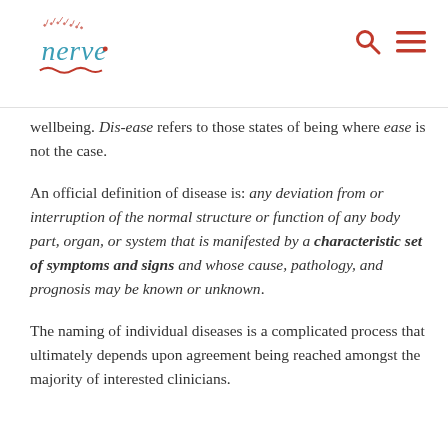nerve logo with search and menu icons
wellbeing. Dis-ease refers to those states of being where ease is not the case.
An official definition of disease is: any deviation from or interruption of the normal structure or function of any body part, organ, or system that is manifested by a characteristic set of symptoms and signs and whose cause, pathology, and prognosis may be known or unknown.
The naming of individual diseases is a complicated process that ultimately depends upon agreement being reached amongst the majority of interested clinicians.